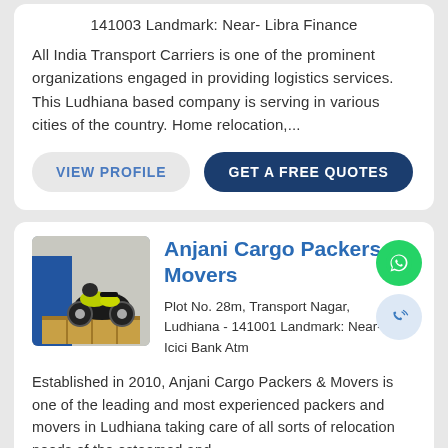141003 Landmark: Near- Libra Finance
All India Transport Carriers is one of the prominent organizations engaged in providing logistics services. This Ludhiana based company is serving in various cities of the country. Home relocation,...
VIEW PROFILE
GET A FREE QUOTES
[Figure (photo): Photo of a motorcycle packed in wooden crate for transport]
Anjani Cargo Packers & Movers
Plot No. 28m, Transport Nagar, Ludhiana - 141001 Landmark: Near- Icici Bank Atm
Established in 2010, Anjani Cargo Packers & Movers is one of the leading and most experienced packers and movers in Ludhiana taking care of all sorts of relocation needs of the esteemed and..